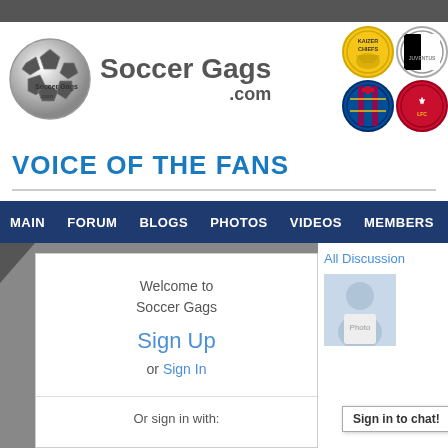[Figure (screenshot): Soccer Gags website header with soccer ball logo, site name 'Soccer Gags .com', and football club badges (Kaizer Chiefs, Juventus, Barcelona, Liverpool) on the right]
VOICE OF THE FANS
MAIN  FORUM  BLOGS  PHOTOS  VIDEOS  MEMBERS  GR...
Welcome to Soccer Gags
Sign Up
or Sign In
Or sign in with:
All Discussion
Sign in to chat!